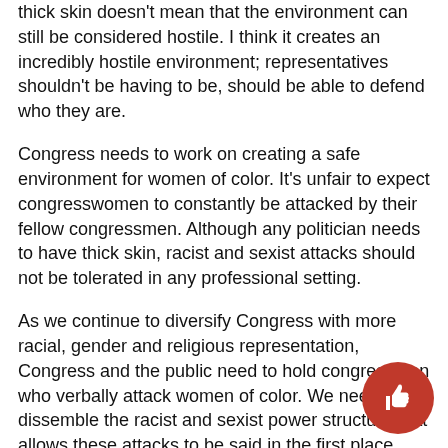thick skin doesn't mean that the environment can still be considered hostile. I think it creates an incredibly hostile environment; representatives shouldn't be having to be, should be able to defend who they are.
Congress needs to work on creating a safe environment for women of color. It's unfair to expect congresswomen to constantly be attacked by their fellow congressmen. Although any politician needs to have thick skin, racist and sexist attacks should not be tolerated in any professional setting.
As we continue to diversify Congress with more racial, gender and religious representation, Congress and the public need to hold congressmen who verbally attack women of color. We need to dissemble the racist and sexist power structure that allows these attacks to be said in the first place.
Our future representatives, senators and presidents depend on the current resilience of congresswomen of color to not back down. They depend on our actions now to create a safer Congress for women of color.
[Figure (illustration): Red circular thumbs-up icon in the bottom right corner of the page.]